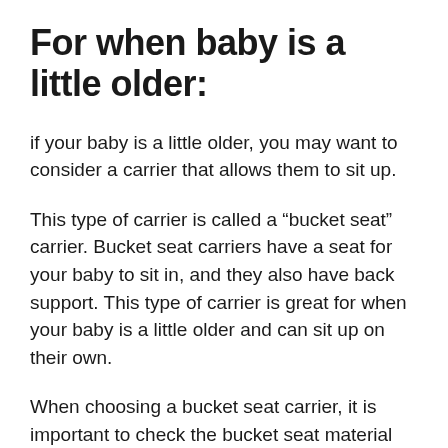For when baby is a little older:
if your baby is a little older, you may want to consider a carrier that allows them to sit up.
This type of carrier is called a “bucket seat” carrier. Bucket seat carriers have a seat for your baby to sit in, and they also have back support. This type of carrier is great for when your baby is a little older and can sit up on their own.
When choosing a bucket seat carrier, it is important to check the bucket seat material because sometimes the materials produce heat when used for a long period which is not good for the baby’s skin and also makes sure that it is comfortable for both you and